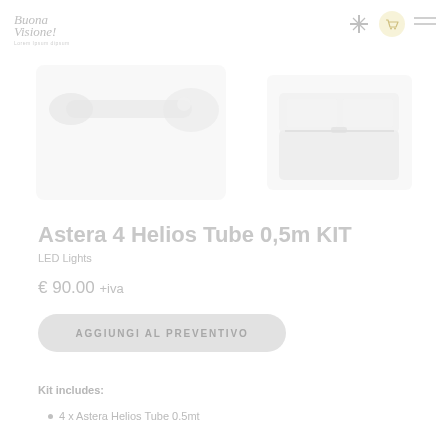Buona Visione! LED Lights rental website header with logo and navigation icons
[Figure (photo): Product photo of Astera 4 Helios Tube 0.5m (left) and a carrying case/kit box (right), both rendered in faded light gray tones]
Astera 4 Helios Tube 0,5m KIT
LED Lights
€ 90.00 +iva
AGGIUNGI AL PREVENTIVO
Kit includes:
4 x Astera Helios Tube 0.5mt